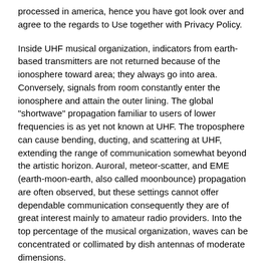processed in america, hence you have got look over and agree to the regards to Use together with Privacy Policy.
Inside UHF musical organization, indicators from earth-based transmitters are not returned because of the ionosphere toward area; they always go into area. Conversely, signals from room constantly enter the ionosphere and attain the outer lining. The global "shortwave" propagation familiar to users of lower frequencies is as yet not known at UHF. The troposphere can cause bending, ducting, and scattering at UHF, extending the range of communication somewhat beyond the artistic horizon. Auroral, meteor-scatter, and EME (earth-moon-earth, also called moonbounce) propagation are often observed, but these settings cannot offer dependable communication consequently they are of great interest mainly to amateur radio providers. Into the top percentage of the musical organization, waves can be concentrated or collimated by dish antennas of moderate dimensions.
The UHF band is extensively used for satellite interaction and broadcasting, in cellular phone and paging systems, by third-generation (3G) cordless services. Considering that the regularity